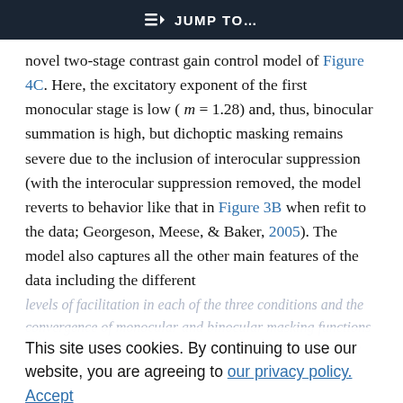☰▷ JUMP TO…
novel two-stage contrast gain control model of Figure 4C. Here, the excitatory exponent of the first monocular stage is low ( m = 1.28) and, thus, binocular summation is high, but dichoptic masking remains severe due to the inclusion of interocular suppression (with the interocular suppression removed, the model reverts to behavior like that in Figure 3B when refit to the data; Georgeson, Meese, & Baker, 2005). The model also captures all the other main features of the data including the different
levels of facilitation in each of the three conditions … the convergence of monocular and binocular masking functions (see Figure 4C, in particular), the second-stage excitatory exponent (p) allows for
This site uses cookies. By continuing to use our website, you are agreeing to our privacy policy. Accept